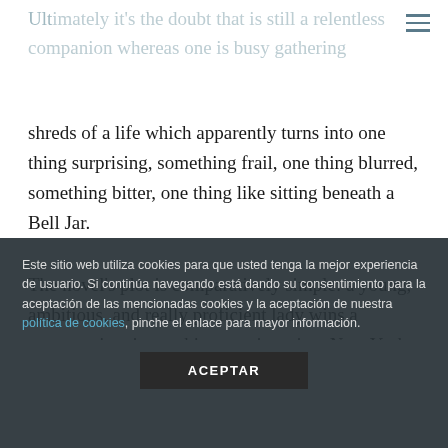Ultimately it's the doubt that is still a relentless companion whereas one is busy gathering
shreds of a life which apparently turns into one thing surprising, something frail, one thing blurred, something bitter, one thing like sitting beneath a Bell Jar.
The novel's plot is comparatively simple: a young, ambitious, and really proficient lady wins a summer time internship as a giant-time New York magazine. Nick heads residence, leaving Gatsby and Daisy alone collectively. The Bell
Este sitio web utiliza cookies para que usted tenga la mejor experiencia de usuario. Si continúa navegando está dando su consentimiento para la aceptación de las mencionadas cookies y la aceptación de nuestra política de cookies, pinche el enlace para mayor información.